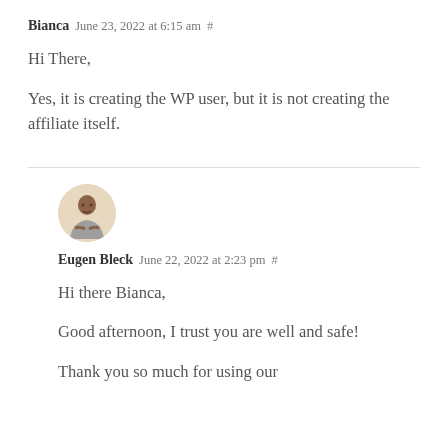Bianca June 23, 2022 at 6:15 am #
Hi There,

Yes, it is creating the WP user, but it is not creating the affiliate itself.
[Figure (photo): Avatar photo of Eugen Bleck — a person in a grey shirt with arms crossed, circular crop with beige background]
Eugen Bleck June 22, 2022 at 2:23 pm #
Hi there Bianca,

Good afternoon, I trust you are well and safe!

Thank you so much for using our